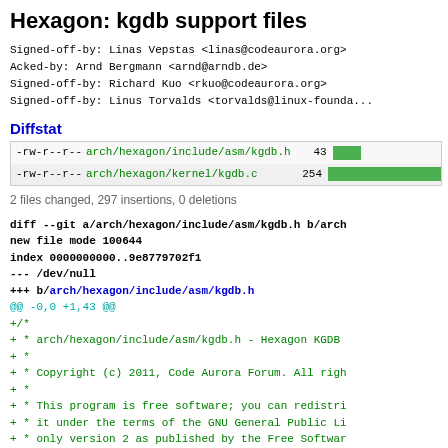Hexagon: kgdb support files
Signed-off-by: Linas Vepstas <linas@codeaurora.org>
Acked-by: Arnd Bergmann <arnd@arndb.de>
Signed-off-by: Richard Kuo <rkuo@codeaurora.org>
Signed-off-by: Linus Torvalds <torvalds@linux-found...
Diffstat
| permissions | file | lines | bar |
| --- | --- | --- | --- |
| -rw-r--r-- | arch/hexagon/include/asm/kgdb.h | 43 |  |
| -rw-r--r-- | arch/hexagon/kernel/kgdb.c | 254 |  |
2 files changed, 297 insertions, 0 deletions
diff --git a/arch/hexagon/include/asm/kgdb.h b/arch...
new file mode 100644
index 0000000000..9e8779702f1
--- /dev/null
+++ b/arch/hexagon/include/asm/kgdb.h
@@ -0,0 +1,43 @@
+/*
+ * arch/hexagon/include/asm/kgdb.h - Hexagon KGDB...
+ *
+ * Copyright (c) 2011, Code Aurora Forum. All righ...
+ *
+ * This program is free software; you can redistri...
+ * it under the terms of the GNU General Public Li...
+ * only version 2 as published by the Free Softwar...
+ *
+ * This program is distributed in the hope that it...